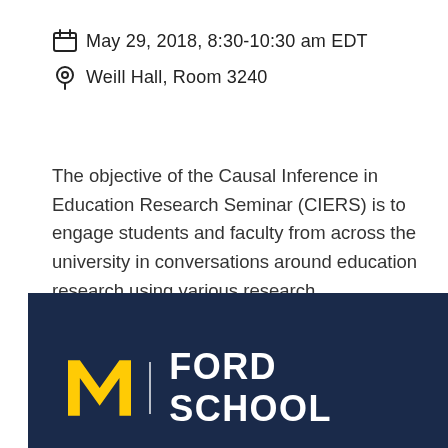May 29, 2018, 8:30-10:30 am EDT
Weill Hall, Room 3240
The objective of the Causal Inference in Education Research Seminar (CIERS) is to engage students and faculty from across the university in conversations around education research using various research methodologies.
[Figure (logo): University of Michigan Ford School logo on dark navy background with block M in maize and white FORD SCHOOL text]